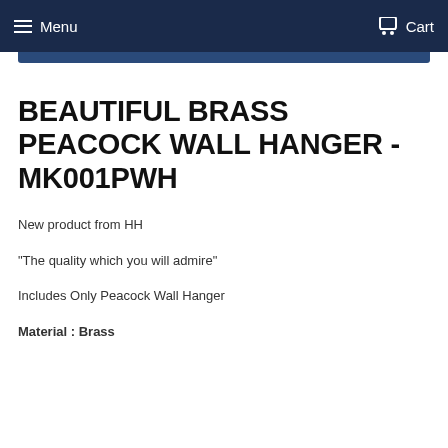Menu   Cart
BEAUTIFUL BRASS  PEACOCK WALL HANGER -MK001PWH
New product from HH
"The quality which you will admire"
Includes Only Peacock Wall Hanger
Material : Brass